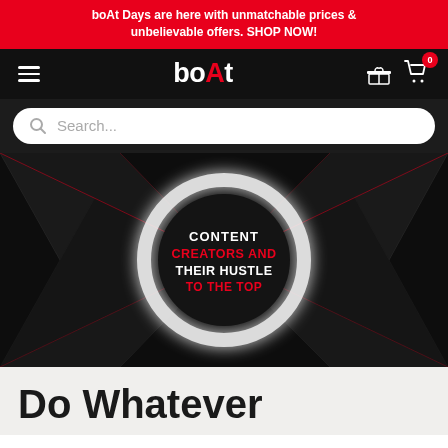boAt Days are here with unmatchable prices & unbelievable offers. SHOP NOW!
[Figure (screenshot): boAt brand navigation bar with hamburger menu, boAt logo, gift icon, and shopping cart icon with badge showing 0]
[Figure (screenshot): Search bar with magnifying glass icon and placeholder text 'Search...']
[Figure (illustration): Dark angular geometric background with red accent lines and a glowing white circle in the center containing text: CONTENT CREATORS AND THEIR HUSTLE TO THE TOP]
Do Whatever